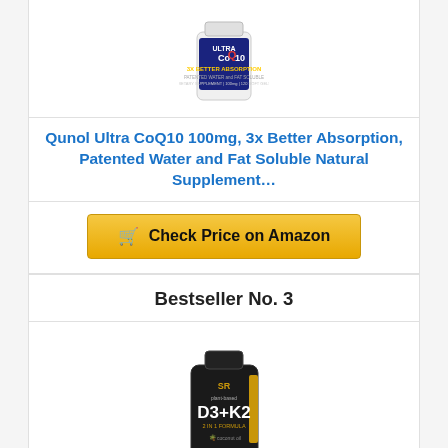[Figure (photo): Qunol Ultra CoQ10 supplement bottle — white bottle with blue and red label showing '3X Better Absorption']
Qunol Ultra CoQ10 100mg, 3x Better Absorption, Patented Water and Fat Soluble Natural Supplement…
🛒 Check Price on Amazon
Bestseller No. 3
[Figure (photo): Sports Research plant-based D3+K2 supplement bottle — black bottle with gold label showing D3+K2 2-in-1 Formula with coconut oil]